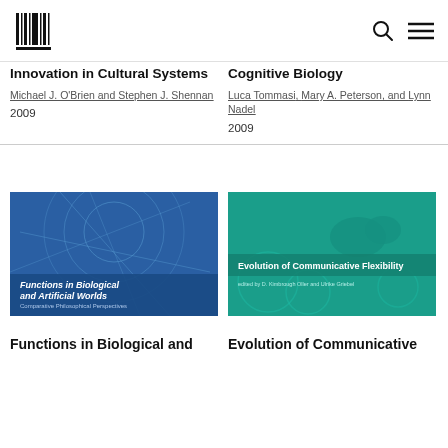MIT Press logo, search icon, menu icon
Innovation in Cultural Systems
Michael J. O'Brien and Stephen J. Shennan
2009
Cognitive Biology
Luca Tommasi, Mary A. Peterson, and Lynn Nadel
2009
[Figure (illustration): Book cover: Functions in Biological and Artificial Worlds — blue cover with abstract web/geometric line art and circular patterns]
[Figure (illustration): Book cover: Evolution of Communicative Flexibility — teal cover with bird silhouettes and decorative circle patterns]
Functions in Biological and
Evolution of Communicative